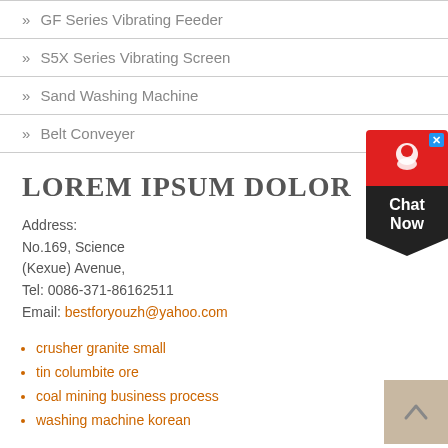» GF Series Vibrating Feeder
» S5X Series Vibrating Screen
» Sand Washing Machine
» Belt Conveyer
LOREM IPSUM DOLOR
Address:
No.169, Science
(Kexue) Avenue,
Tel: 0086-371-86162511
Email: bestforyouzh@yahoo.com
crusher granite small
tin columbite ore
coal mining business process
washing machine korean